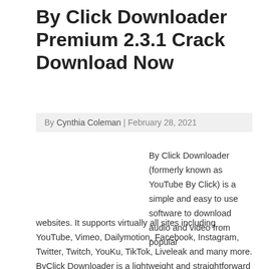By Click Downloader Premium 2.3.1 Crack Download Now
By Cynthia Coleman | February 28, 2021
By Click Downloader (formerly known as YouTube By Click) is a simple and easy to use software to download audio and video from popular websites. It supports virtually all sites including YouTube, Vimeo, Dailymotion, Facebook, Instagram, Twitter, Twitch, YouKu, TikTok, Liveleak and many more. ByClick Downloader is a lightweight and straightforward software created to serve as the simplest… Read More »